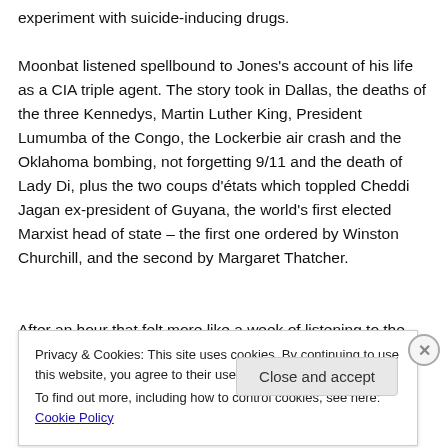experiment with suicide-inducing drugs. Moonbat listened spellbound to Jones's account of his life as a CIA triple agent. The story took in Dallas, the deaths of the three Kennedys, Martin Luther King, President Lumumba of the Congo, the Lockerbie air crash and the Oklahoma bombing, not forgetting 9/11 and the death of Lady Di, plus the two coups d'états which toppled Cheddi Jagan ex-president of Guyana, the world's first elected Marxist head of state – the first one ordered by Winston Churchill, and the second by Margaret Thatcher.
After an hour that felt more like a week of listening to the
Privacy & Cookies: This site uses cookies. By continuing to use this website, you agree to their use.
To find out more, including how to control cookies, see here: Cookie Policy